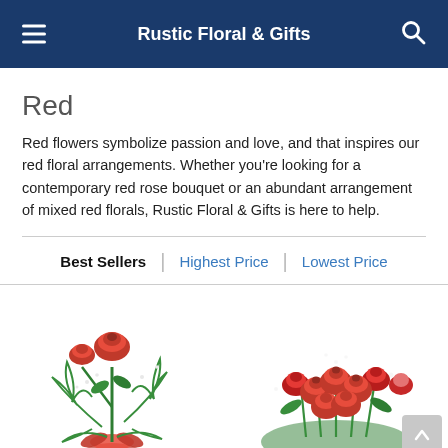Rustic Floral & Gifts
Red
Red flowers symbolize passion and love, and that inspires our red floral arrangements. Whether you're looking for a contemporary red rose bouquet or an abundant arrangement of mixed red florals, Rustic Floral & Gifts is here to help.
Best Sellers | Highest Price | Lowest Price
[Figure (photo): Single red rose in a vase with green foliage and red ribbon]
[Figure (photo): Dozen red roses arrangement with baby's breath and green foliage]